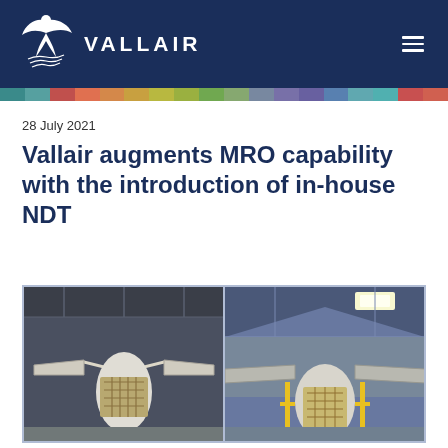VALLAIR
28 July 2021
Vallair augments MRO capability with the introduction of in-house NDT
[Figure (photo): Two side-by-side photographs of aircraft undergoing MRO inspection in a hangar, showing the nose and front section with panels open revealing internal structure, yellow scaffolding/supports visible.]